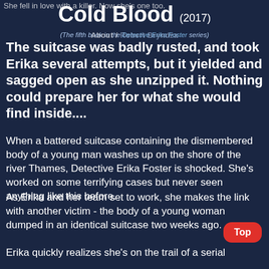She fell in love with a killer. Now she's one too.
Cold Blood (2017)
(The fifth book in the Detective Erika Foster series)
About / Robert Bryndza
The suitcase was badly rusted, and took Erika several attempts, but it yielded and sagged open as she unzipped it. Nothing could prepare her for what she would find inside....
When a battered suitcase containing the dismembered body of a young man washes up on the shore of the river Thames, Detective Erika Foster is shocked. She's worked on some terrifying cases but never seen anything like this before.
As Erika and her team set to work, she makes the link with another victim - the body of a young woman dumped in an identical suitcase two weeks ago.
Erika quickly realizes she's on the trail of a serial